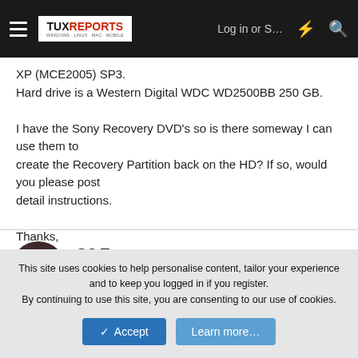TUX REPORTS — Log in or S... [icons]
XP (MCE2005) SP3.
Hard drive is a Western Digital WDC WD2500BB 250 GB.

I have the Sony Recovery DVD's so is there someway I can use them to
create the Recovery Partition back on the HD? If so, would you please post
detail instructions.

Thanks,

ColTom2
SC Tom
Flightless Bird
This site uses cookies to help personalise content, tailor your experience and to keep you logged in if you register.
By continuing to use this site, you are consenting to our use of cookies.